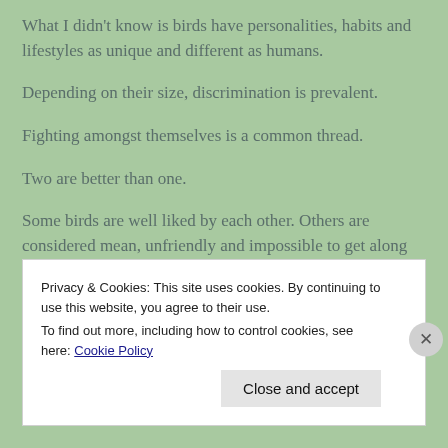What I didn't know is birds have personalities, habits and lifestyles as unique and different as humans.
Depending on their size, discrimination is prevalent.
Fighting amongst themselves is a common thread.
Two are better than one.
Some birds are well liked by each other. Others are considered mean, unfriendly and impossible to get along with.
Privacy & Cookies: This site uses cookies. By continuing to use this website, you agree to their use.
To find out more, including how to control cookies, see here: Cookie Policy